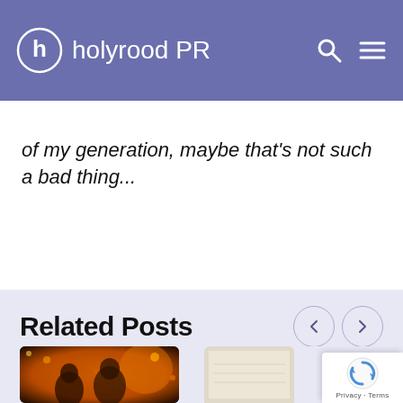holyrood PR
of my generation, maybe that's not such a bad thing...
Related Posts
[Figure (photo): Two men photographed indoors with warm amber/orange lighting behind them, possibly at an event or restaurant]
[Figure (photo): Partial view of another image with light beige/cream tones, possibly a document or light-colored scene]